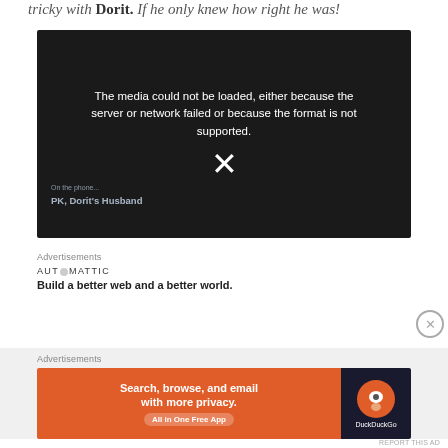tricky with Dorit. If he only knew how right he was!
[Figure (screenshot): Video player showing error message: 'The media could not be loaded, either because the server or network failed or because the format is not supported.' with an X icon. Overlay text shows 'On the phone...' and 'PK, Dorit's Husband']
Advertisements
AUTOMATTIC
Build a better web and a better world.
Advertisements
[Figure (screenshot): DuckDuckGo advertisement banner. Left side orange with text 'Search, browse, and email with more privacy. All in One Free App'. Right side dark with DuckDuckGo logo and name.]
REPORT THIS AD